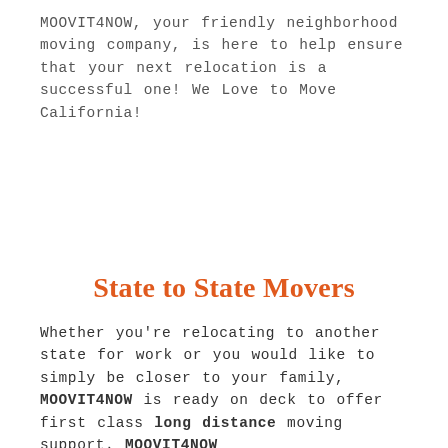MOOVIT4NOW, your friendly neighborhood moving company, is here to help ensure that your next relocation is a successful one! We Love to Move California!
State to State Movers
Whether you're relocating to another state for work or you would like to simply be closer to your family, MOOVIT4NOW is ready on deck to offer first class long distance moving support. MOOVIT4NOW